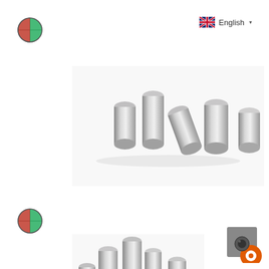[Figure (logo): Green and red circular logo with globe/crosshair symbol, top left]
[Figure (logo): UK flag icon with 'English' text and dropdown arrow, top right]
[Figure (photo): Five small silver cylindrical metal pins/magnets arranged in a scattered group on white background]
[Figure (logo): Green and red circular logo with globe/crosshair symbol, mid left]
[Figure (photo): Several small silver cylindrical metal pins/magnets partially visible at bottom of page]
[Figure (other): Camera/photo icon badge, bottom right corner]